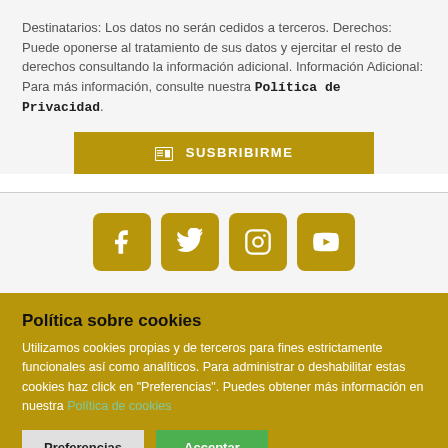Destinatarios: Los datos no serán cedidos a terceros. Derechos: Puede oponerse al tratamiento de sus datos y ejercitar el resto de derechos consultando la información adicional. Información Adicional: Para más información, consulte nuestra Política de Privacidad.
[Figure (other): Button labeled SUSBRIBIRME with a form icon, golden background]
[Figure (other): Social media icons: Facebook, Twitter, Instagram, YouTube — golden rounded square buttons]
Política sobre cookies
Utilizamos cookies propias y de terceros para fines estrictamente funcionales así como analíticos. Para administrar o deshabilitar estas cookies haz click en "Preferencias". Puedes obtener más información en nuestra Política de cookies
[Figure (other): Two buttons: Preferencias (light grey) and Acceptar (green)]